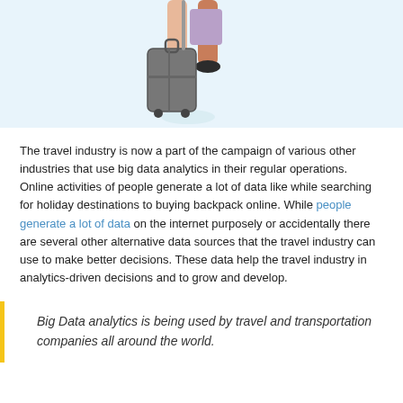[Figure (illustration): Illustration of a person from the waist down pulling a rolling suitcase, set against a light blue background.]
The travel industry is now a part of the campaign of various other industries that use big data analytics in their regular operations. Online activities of people generate a lot of data like while searching for holiday destinations to buying backpack online. While people generate a lot of data on the internet purposely or accidentally there are several other alternative data sources that the travel industry can use to make better decisions. These data help the travel industry in analytics-driven decisions and to grow and develop.
Big Data analytics is being used by travel and transportation companies all around the world.